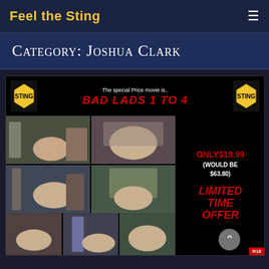Feel the Sting
Category: Joshua Clark
[Figure (screenshot): Promotional advertisement image for 'Bad Lads 1 to 4' bundle. Shows text 'The special Price movie is.. BAD LADS 1 To 4' with a grid of 8 photos and pricing text 'ONLY$19.99 (WOULD BE $63.80) LIMITED TIME OFFER']